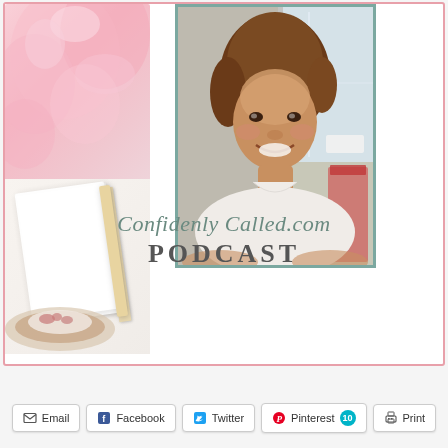[Figure (illustration): A card/poster with a pink floral background on the left, a photo of a smiling middle-aged woman in center, and the text 'Confidenly Called.com Podcast' below. Also shows a notebook and food plate in lower-left.]
Confidenly Called.com Podcast
[Figure (infographic): Share buttons row: Email, Facebook, Twitter, Pinterest (with badge 10), Print]